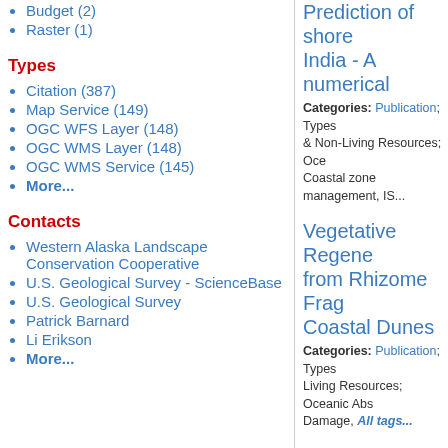Budget (2)
Raster (1)
Types
Citation (387)
Map Service (149)
OGC WFS Layer (148)
OGC WMS Layer (148)
OGC WMS Service (145)
More...
Contacts
Western Alaska Landscape Conservation Cooperative
U.S. Geological Survey - ScienceBase
U.S. Geological Survey
Patrick Barnard
Li Erikson
More...
Prediction of shore... India - A numerical...
Categories: Publication; Types... & Non-Living Resources; Oce... Coastal zone management, IS...
Vegetative Regene... from Rhizome Frag... Coastal Dunes
Categories: Publication; Types... Living Resources; Oceanic Abs... Damage, All tags...
Hurricane!
Categories: Publication; Types... & Non-Living Resources; ASFA... Health and safety, Hurricanes,...
Comparison of gro... lightning mapping o... based LIS observa...